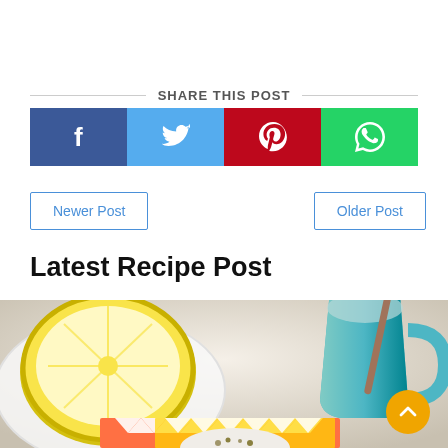SHARE THIS POST
[Figure (infographic): Social share buttons: Facebook (dark blue), Twitter (light blue), Pinterest (red), WhatsApp (green)]
Newer Post
Older Post
Latest Recipe Post
[Figure (photo): Food photo showing a halved lemon on a white plate, a teal ceramic mug with liquid and a wooden stirrer, a colorful chevron-patterned cloth, and a small white bowl with garnish, all on a light surface.]